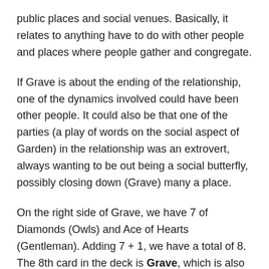public places and social venues. Basically, it relates to anything have to do with other people and places where people gather and congregate.
If Grave is about the ending of the relationship, one of the dynamics involved could have been other people. It could also be that one of the parties (a play of words on the social aspect of Garden) in the relationship was an extrovert, always wanting to be out being a social butterfly, possibly closing down (Grave) many a place.
On the right side of Grave, we have 7 of Diamonds (Owls) and Ace of Hearts (Gentleman). Adding 7 + 1, we have a total of 8. The 8th card in the deck is Grave, which is also the central card in the line.
[Figure (illustration): A decorative card with the number 8 in a circle on the left, ornate swirling decorations in the center, and a rose motif on the right, styled like a tarot or playing card with an aged brown/sepia aesthetic.]